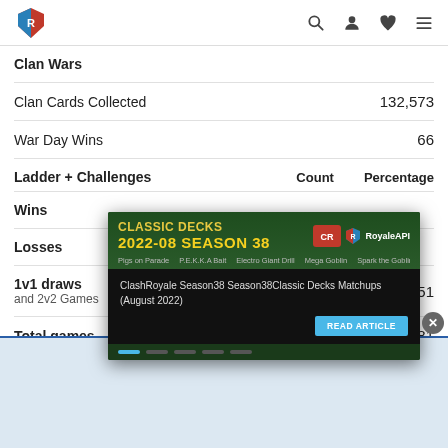RoyaleAPI navigation header
Clan Wars
Clan Cards Collected	132,573
War Day Wins	66
Ladder + Challenges	Count	Percentage
Wins
Losses
1v1 draws
and 2v2 Games	6,451
Total games	12,681
[Figure (screenshot): Popup advertisement for ClashRoyale Season 38 Classic Decks Matchups (August 2022) with a 'READ ARTICLE' button on a dark green/black background with carousel indicators]